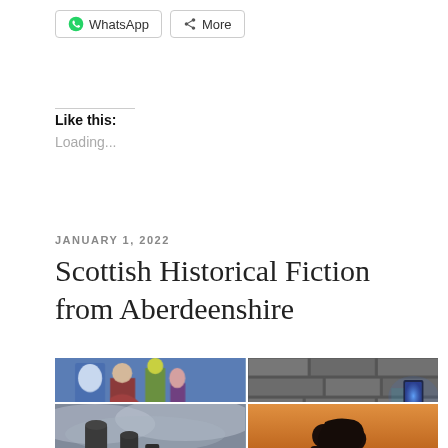[Figure (screenshot): WhatsApp and More share buttons at top]
Like this:
Loading...
JANUARY 1, 2022
Scottish Historical Fiction from Aberdeenshire
[Figure (photo): 2x2 grid of four photos: medieval illustration, stone wall with blue light, standing stones under cloudy sky, silhouette of couple kissing at sunset]